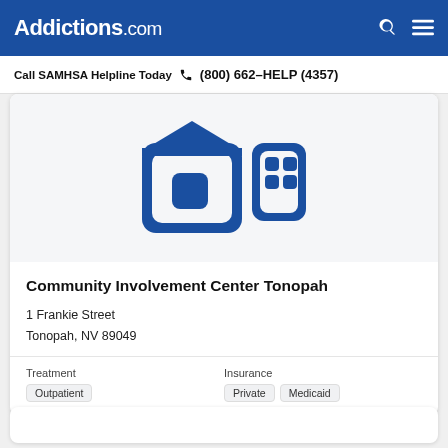Addictions.com
Call SAMHSA Helpline Today  (800) 662-HELP (4357)
[Figure (illustration): Blue icon of a house/building with rounded corners representing a treatment facility or community center]
Community Involvement Center Tonopah
1 Frankie Street
Tonopah, NV 89049
Treatment
Outpatient
Insurance
Private  Medicaid